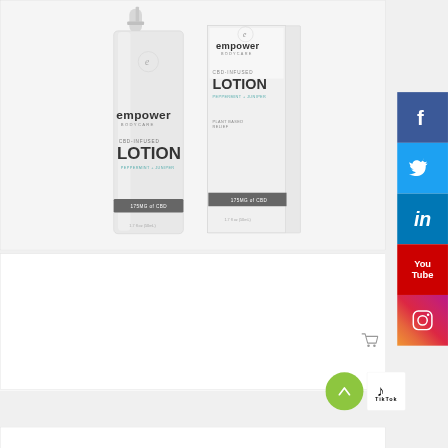[Figure (photo): Two empower bodycare CBD-Infused Lotion products (Peppermint + Juniper) — a pump bottle and a box — on a light gray background]
CBD-Infused Lotion – Peppermint Juniper
$39.99
[Figure (other): Social media sharing buttons: Facebook (blue), Twitter (light blue), LinkedIn (dark blue), YouTube (red), Instagram (gradient)]
[Figure (other): Scroll-to-top button (green circle with up arrow) and TikTok icon]
[Figure (other): Partially visible product card at bottom of page]